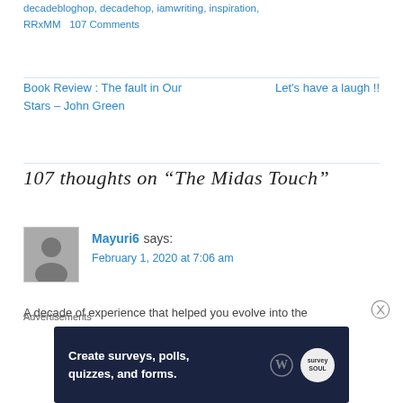decadebloghop, decadehop, iamwriting, inspiration, RRxMM   107 Comments
Book Review : The fault in Our Stars – John Green
Let's have a laugh !!
107 thoughts on "The Midas Touch"
Mayuri6 says: February 1, 2020 at 7:06 am
A decade of experience that helped you evolve into the
Advertisements
[Figure (screenshot): Advertisement banner: Create surveys, polls, quizzes, and forms. Dark blue background with WordPress logo and a circular logo on the right.]